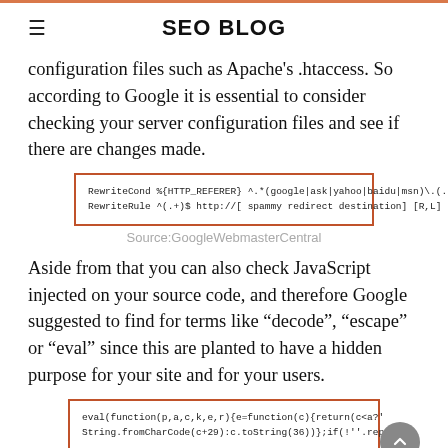SEO BLOG
configuration files such as Apache's .htaccess. So according to Google it is essential to consider checking your server configuration files and see if there are changes made.
[Figure (screenshot): Code box with orange border showing RewriteCond and RewriteRule directives]
Source:GoogleWebmasterCentral
Aside from that you can also check JavaScript injected on your source code, and therefore Google suggested to find for terms like “decode”, “escape” or “eval” since this are planted to have a hidden purpose for your site and for your users.
[Figure (screenshot): Code box with orange border showing eval(function(p,a,c,k,e,r) obfuscated JavaScript and String.fromCharCode line]